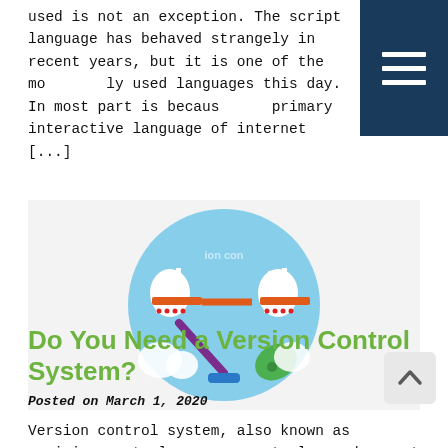used is not an exception. The script language has behaved strangely in recent years, but it is one of the most widely used languages this day. In most part is because the primary interactive language of internet [...]
[Figure (illustration): Circular diagram showing version control or network concept with two server nodes connected by an orange bar, a purple diagonal line, a green leaf shape, a blue shape, and a light blue circular background with white cloud-like shapes and bar chart icons.]
Do You Need a Version Control System?
Posted on March 1, 2020
Version control system, also known as revision control, source control, or document tracking, is a methodology...